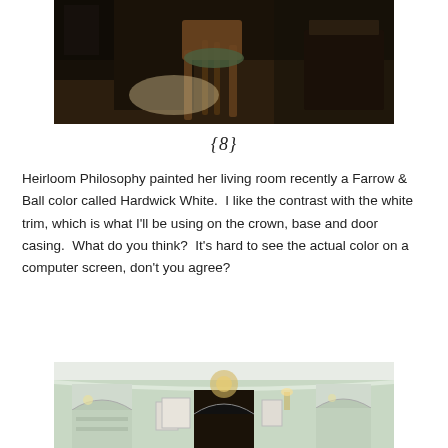[Figure (photo): Dark interior room photo showing a wooden rocking chair on a dark floor with dramatic light patch]
{8}
Heirloom Philosophy painted her living room recently a Farrow & Ball color called Hardwick White.  I like the contrast with the white trim, which is what I'll be using on the crown, base and door casing.  What do you think?  It's hard to see the actual color on a computer screen, don't you agree?
[Figure (photo): Interior room photo showing light sage/grey-green walls with white arched windows and doorways]